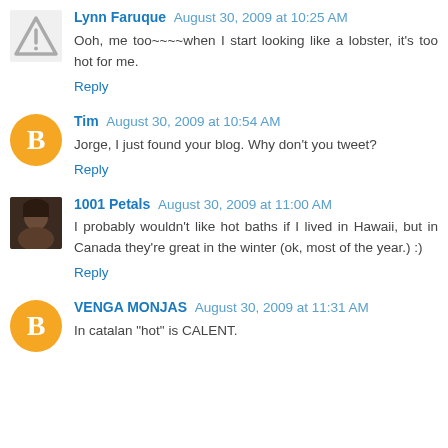Lynn Faruque  August 30, 2009 at 10:25 AM
Ooh, me too~~~~when I start looking like a lobster, it's too hot for me.
Reply
Tim  August 30, 2009 at 10:54 AM
Jorge, I just found your blog. Why don't you tweet?
Reply
1001 Petals  August 30, 2009 at 11:00 AM
I probably wouldn't like hot baths if I lived in Hawaii, but in Canada they're great in the winter (ok, most of the year.) :)
Reply
VENGA MONJAS  August 30, 2009 at 11:31 AM
In catalan "hot" is CALENT.